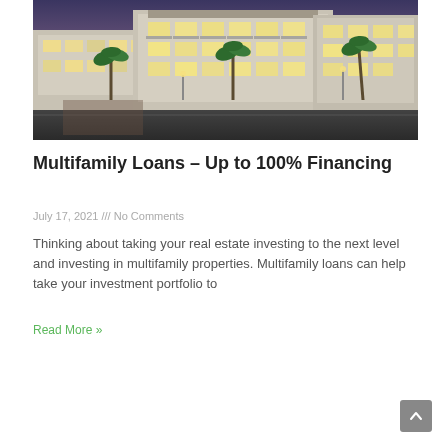[Figure (photo): Exterior rendering of a modern multifamily apartment complex at dusk, with warm lighting, palm trees, and parking area in foreground.]
Multifamily Loans – Up to 100% Financing
July 17, 2021 /// No Comments
Thinking about taking your real estate investing to the next level and investing in multifamily properties. Multifamily loans can help take your investment portfolio to
Read More »